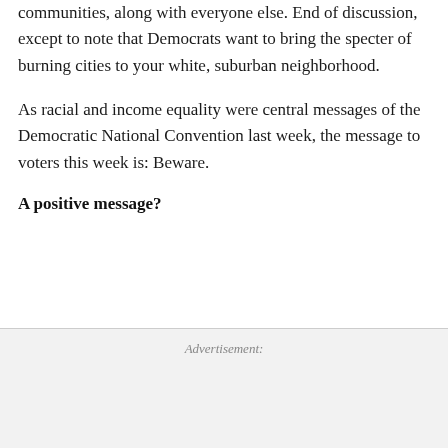communities, along with everyone else. End of discussion, except to note that Democrats want to bring the specter of burning cities to your white, suburban neighborhood.
As racial and income equality were central messages of the Democratic National Convention last week, the message to voters this week is: Beware.
A positive message?
Advertisement: